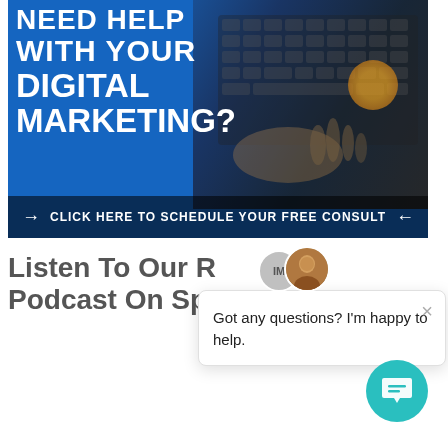[Figure (illustration): Blue digital marketing banner ad with white bold text reading 'NEED HELP WITH YOUR DIGITAL MARKETING?' overlaid on a photo of hands typing on a laptop. A dark call-to-action bar at the bottom reads 'CLICK HERE TO SCHEDULE YOUR FREE CONSULT' with arrow symbols on each side.]
Listen To Our R... Podcast On Sp...
[Figure (screenshot): A chat popup widget overlay. Shows two avatar icons at the top (an 'IM' logo circle and a man's headshot). A close X button in the top right. Text reads: 'Got any questions? I'm happy to help.' Below the popup is a teal circular chat button with a speech bubble icon.]